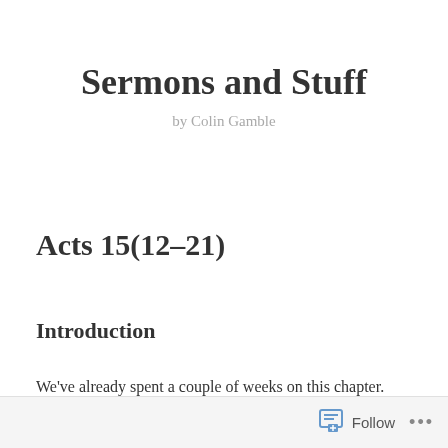Sermons and Stuff
by Colin Gamble
Acts 15(12–21)
Introduction
We've already spent a couple of weeks on this chapter.
Follow ...